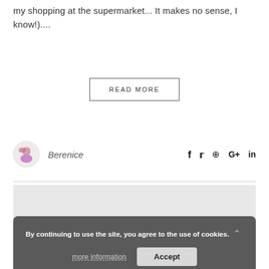my shopping at the supermarket... It makes no sense, I know!)....
READ MORE
Berenice
f  ❧  ⊕  G+  in
[Figure (photo): Gray placeholder image block]
By continuing to use the site, you agree to the use of cookies. more information  Accept